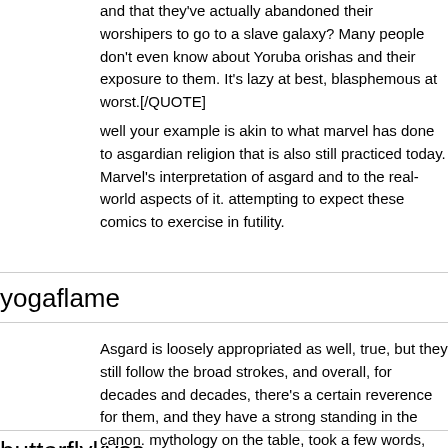and that they've actually abandoned their worshipers to go to a slave galaxy? Many people don't even know about Yoruba orishas and their exposure to them. It's lazy at best, blasphemous at worst.[/QUOTE]
well your example is akin to what marvel has done to asgardian religion that is also still practiced today. Marvel's interpretation of asgard and to the real-world aspects of it. attempting to expect these comics to exercise in futility.
yogaflame
Asgard is loosely appropriated as well, true, but they still follow the broad strokes, and overall, for decades and decades, there's a certain reverence for them, and they have a strong standing in the canon. mythology on the table, took a few words, and threw the rest in the trash.
butterflykyss
[QUOTE=yogaflame;5360104]Asgard is loosely appropriated as well, follow the established mythology in the broad strokes, and overall, for decades, there's a certain level of reverence for them, and they have the canon. Coates dumped Yoruba mythology on the table, took a few rest in the trash.[/QUOTE]